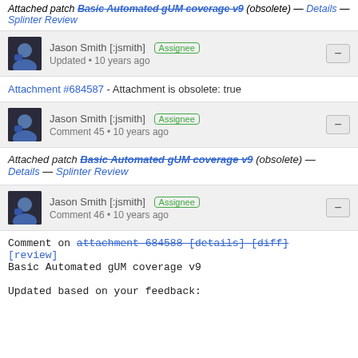Attached patch Basic Automated gUM coverage v9 (obsolete) — Details — Splinter Review
Jason Smith [:jsmith] Assignee Updated • 10 years ago
Attachment #684587 - Attachment is obsolete: true
Jason Smith [:jsmith] Assignee Comment 45 • 10 years ago
Attached patch Basic Automated gUM coverage v9 (obsolete) — Details — Splinter Review
Jason Smith [:jsmith] Assignee Comment 46 • 10 years ago
Comment on attachment 684588 [details] [diff] [review]
Basic Automated gUM coverage v9

Updated based on your feedback: